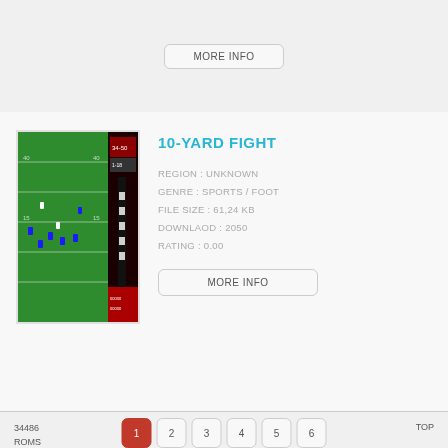MORE INFO
[Figure (screenshot): Screenshot of 10-Yard Fight NES game showing a football field with players in green field view and scoreboard on the right.]
10-YARD FIGHT
REGION : UNKNOWN
GENRE : SPORTS / FOOT
FILE SIZE : 61,24 KB
DOWNLAOD : 2050
RATING : 0.00
MORE INFO
34486
ROMS
1 2 3 4 5 6 7 8 9 10 > >>
TOP